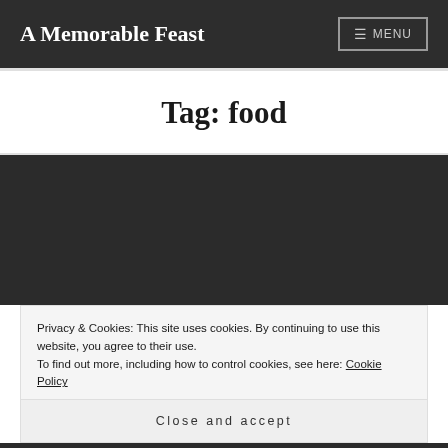A Memorable Feast
Tag: food
[Figure (photo): Dark background image area (content area under tag header)]
Privacy & Cookies: This site uses cookies. By continuing to use this website, you agree to their use.
To find out more, including how to control cookies, see here: Cookie Policy
Close and accept
[Figure (illustration): Camera icon at bottom center]